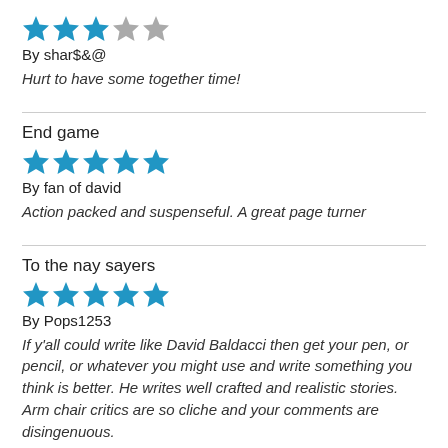[Figure (other): 3 out of 5 stars rating (3 blue stars, 2 gray stars)]
By shar$&@
Hurt to have some together time!
End game
[Figure (other): 5 out of 5 stars rating (5 blue stars)]
By fan of david
Action packed and suspenseful. A great page turner
To the nay sayers
[Figure (other): 5 out of 5 stars rating (5 blue stars)]
By Pops1253
If y'all could write like David Baldacci then get your pen, or pencil, or whatever you might use and write something you think is better. He writes well crafted and realistic stories. Arm chair critics are so cliche and your comments are disingenuous.